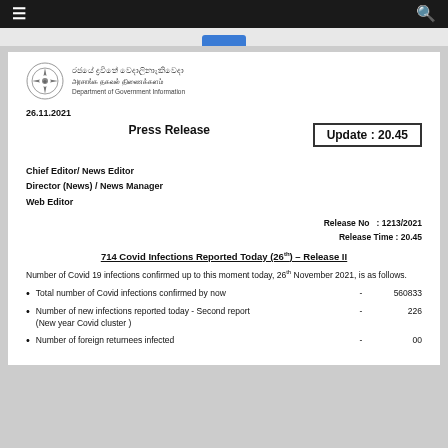Department of Government Information - Press Release
26.11.2021
Press Release
Update : 20.45
Chief Editor/ News Editor
Director (News) / News Manager
Web Editor
Release No : 1213/2021
Release Time : 20.45
714 Covid Infections Reported Today (26th) – Release II
Number of Covid 19 infections confirmed up to this moment today, 26th November 2021, is as follows.
Total number of Covid infections confirmed by now - 560833
Number of new infections reported today - Second report (New year Covid cluster ) - 226
Number of foreign returnees infected - 00